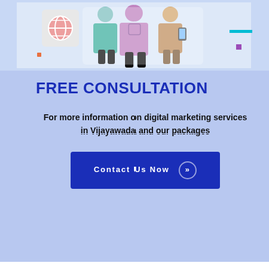[Figure (illustration): Digital marketing illustration showing three people with globe/social media icons, decorative elements on light blue background]
FREE CONSULTATION
For more information on digital marketing services in Vijayawada and our packages
Contact Us Now »